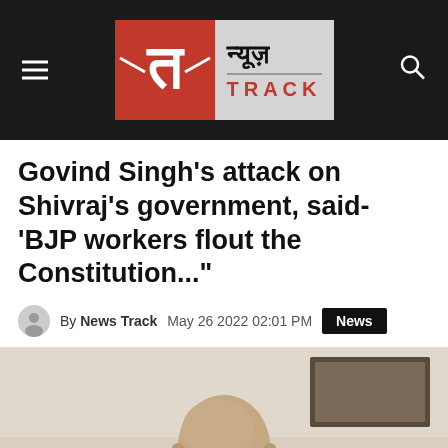News Track (न्यूज़ TRACK) — header navigation bar
Govind Singh's attack on Shivraj's government, said- 'BJP workers flout the Constitution..."
By News Track   May 26 2022 02:01 PM   News
[Figure (photo): Photograph of an elderly bald man in white clothing, seated, looking to the side, with a framed picture on the wall behind him.]